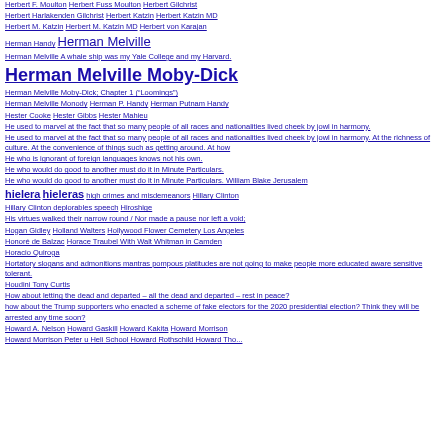Herbert F. Moulton Herbert Fuss Moulton Herbert Gilchrist
Herbert Harlakenden Gilchrist Herbert Katzin Herbert Katzin MD
Herbert M. Katzin Herbert M. Katzin MD Herbert von Karajan
Herman Handy Herman Melville
Herman Melville A whale ship was my Yale College and my Harvard.
Herman Melville Moby-Dick
Herman Melville Moby-Dick; Chapter 1 (“Loomings”)
Herman Melville Monody Herman P. Handy Herman Putnam Handy
Hester Cooke Hester Gibbs Hester Mahieu
He used to marvel at the fact that so many people of all races and nationalities lived cheek by jowl in harmony.
He used to marvel at the fact that so many people of all races and nationalities lived cheek by jowl in harmony. At the richness of culture. At the convenience of things such as getting around. At how
He who is ignorant of foreign languages knows not his own.
He who would do good to another must do it in Minute Particulars.
He who would do good to another must do it in Minute Particulars. William Blake Jerusalem
hielera hieleras high crimes and misdemeanors Hillary Clinton
Hillary Clinton deplorables speech Hiroshige
His virtues walked their narrow round / Nor made a pause nor left a void;
Hogan Gidley Holland Walters Hollywood Flower Cemetery Los Angeles
Honoré de Balzac Horace Traubel With Walt Whitman in Camden
Horacio Quiroga
Hortatory slogans and admonitions mantras pompous platitudes are not going to make people more educated aware sensitive tolerant.
Houdini Tony Curtis
How about letting the dead and departed – all the dead and departed – rest in peace?
how about the Trump supporters who enacted a scheme of fake electors for the 2020 presidential election? Think they will be arrested any time soon?
Howard A. Nelson Howard Gaskill Howard Kakita Howard Morrison
Howard Morrison Peter u Heli School Howard Rothschild Howard Tho...